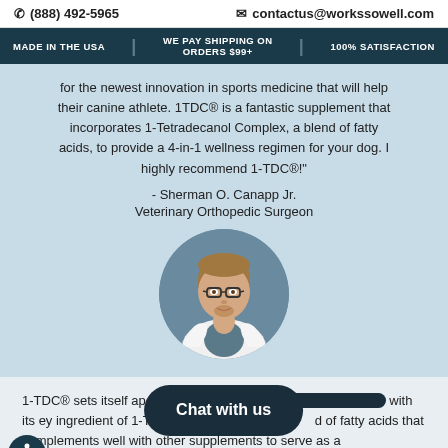(888) 492-5965 | contactus@workssowell.com
MADE IN THE USA | WE PAY SHIPPING ON ORDERS $99+ | 100% SATISFACTION
for the newest innovation in sports medicine that will help their canine athlete. 1TDC® is a fantastic supplement that incorporates 1-Tetradecanol Complex, a blend of fatty acids, to provide a 4-in-1 wellness regimen for your dog. I highly recommend 1-TDC®!" - Sherman O. Canapp Jr. Veterinary Orthopedic Surgeon
[Figure (photo): Circular headshot photo of Sherman O. Canapp Jr., a man with glasses and a goatee wearing a white medical coat, against a gray-blue background.]
1-TDC® sets itself apart from [obscured] with its key ingredient of 1-Tetradecal[obscured] d of fatty acids that complements well with other supplements to serve as a comprehensive tool for your pets' health. 1-